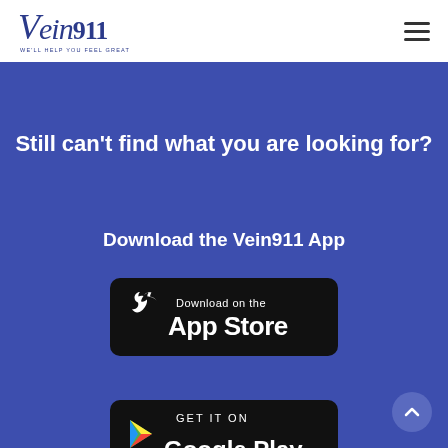[Figure (logo): Vein911 logo with italic script text and tagline 'We'll Help You Feel Great Again']
Still can't find what you are looking for?
Download the Vein911 App
[Figure (illustration): Apple App Store download badge — black rounded rectangle with Apple logo and text 'Download on the App Store']
[Figure (illustration): Google Play GET IT ON badge — partially visible black rounded rectangle at bottom of page]